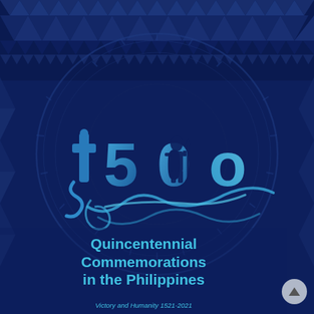[Figure (logo): 500 Quincentennial Commemorations in the Philippines logo with cross, warrior silhouette, wave and feather motifs on dark navy background with tribal pattern border]
Quincentennial Commemorations in the Philippines
Victory and Humanity 1521-2021